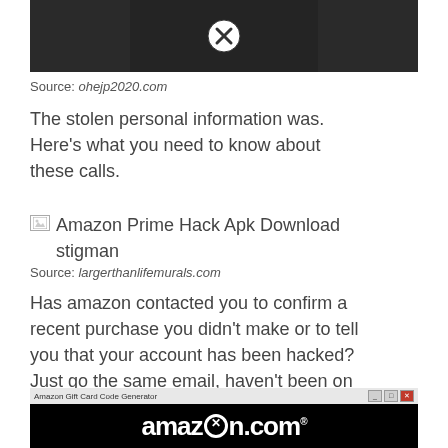[Figure (photo): Dark image showing a person, with a circular close/X button overlay in the top center area]
Source: ohejp2020.com
The stolen personal information was. Here's what you need to know about these calls.
[Figure (other): Broken image placeholder with alt text: Amazon Prime Hack Apk Download stigman]
Source: largerthanlifemurals.com
Has amazon contacted you to confirm a recent purchase you didn't make or to tell you that your account has been hacked? Just go the same email, haven't been on amazon for almost a year.
[Figure (screenshot): Screenshot of Amazon Gift Card Code Generator window with amazon.com logo on black background]